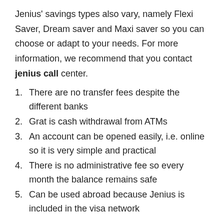Jenius' savings types also vary, namely Flexi Saver, Dream saver and Maxi saver so you can choose or adapt to your needs. For more information, we recommend that you contact jenius call center.
There are no transfer fees despite the different banks
Grat is cash withdrawal from ATMs
An account can be opened easily, i.e. online so it is very simple and practical
There is no administrative fee so every month the balance remains safe
Can be used abroad because Jenius is included in the visa network
The most common questions about Jenius through CS services